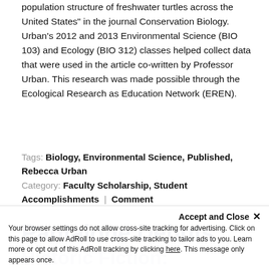population structure of freshwater turtles across the United States" in the journal Conservation Biology. Urban's 2012 and 2013 Environmental Science (BIO 103) and Ecology (BIO 312) classes helped collect data that were used in the article co-written by Professor Urban. This research was made possible through the Ecological Research as Education Network (EREN).
Tags: Biology, Environmental Science, Published, Rebecca Urban
Category: Faculty Scholarship, Student Accomplishments | Comment
Pantalone Debuts
Historic Fiction: The Road to
Your browser settings do not allow cross-site tracking for advertising. Click on this page to allow AdRoll to use cross-site tracking to tailor ads to you. Learn more or opt out of this AdRoll tracking by clicking here. This message only appears once.